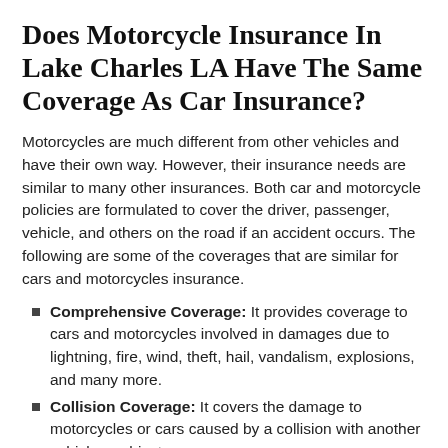Does Motorcycle Insurance In Lake Charles LA Have The Same Coverage As Car Insurance?
Motorcycles are much different from other vehicles and have their own way. However, their insurance needs are similar to many other insurances. Both car and motorcycle policies are formulated to cover the driver, passenger, vehicle, and others on the road if an accident occurs. The following are some of the coverages that are similar for cars and motorcycles insurance.
Comprehensive Coverage: It provides coverage to cars and motorcycles involved in damages due to lightning, fire, wind, theft, hail, vandalism, explosions, and many more.
Collision Coverage: It covers the damage to motorcycles or cars caused by a collision with another vehicle or object.
Liability: Liability coverage insurance compensates for the injury or property damage that occurred due to an accident